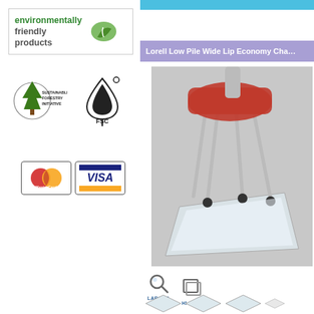[Figure (logo): Environmentally Friendly Products logo with green leaf icon, inside a bordered box]
[Figure (logo): Sustainable Forestry Initiative (SFI) logo and FSC (Forest Stewardship Council) logo side by side]
[Figure (logo): MasterCard and Visa payment method badges]
[Figure (photo): Product page showing 'Lorell Low Pile Wide Lip Economy Chair' mat with photo of clear chair mat under office chair on carpet]
[Figure (other): Larger Image and Hi-Res image option buttons]
[Figure (other): Row of product thumbnail images at the bottom]